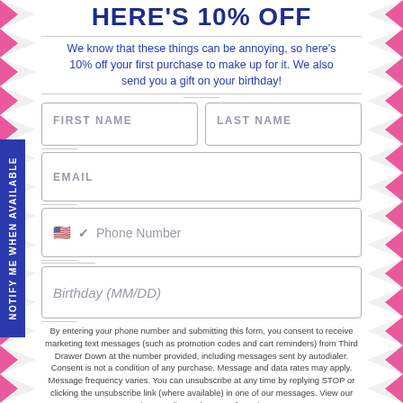HERE'S 10% OFF
We know that these things can be annoying, so here's 10% off your first purchase to make up for it. We also send you a gift on your birthday!
FIRST NAME | LAST NAME | EMAIL | Phone Number | Birthday (MM/DD)
By entering your phone number and submitting this form, you consent to receive marketing text messages (such as promotion codes and cart reminders) from Third Drawer Down at the number provided, including messages sent by autodialer. Consent is not a condition of any purchase. Message and data rates may apply. Message frequency varies. You can unsubscribe at any time by replying STOP or clicking the unsubscribe link (where available) in one of our messages. View our Privacy Policy and Terms of Service.